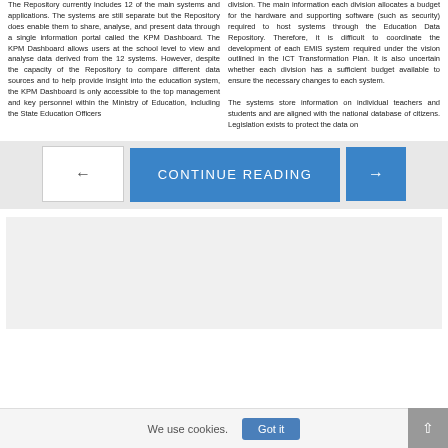The Repository currently includes 12 of the main systems and applications. The systems are still separate but the Repository does enable them to share, analyse, and present data through a single information portal called the KPM Dashboard. The KPM Dashboard allows users at the school level to view and analyse data derived from the 12 systems. However, despite the capacity of the Repository to compare different data sources and to help provide insight into the education system, the KPM Dashboard is only accessible to the top management and key personnel within the Ministry of Education, including the State Education Officers
division. The main information each division allocates a budget for the hardware and supporting software (such as security) required to host systems through the Education Data Repository. Therefore, it is difficult to coordinate the development of each EMIS system required under the vision outlined in the ICT Transformation Plan. It is also uncertain whether each division has a sufficient budget available to ensure the necessary changes to each system. The systems store information on individual teachers and students and are aligned with the national database of citizens. Legislation exists to protect the data on
[Figure (other): Navigation bar with a white back-arrow button on the left, a blue 'CONTINUE READING' button in the center, and a blue forward-arrow button on the right, on a light grey background.]
[Figure (other): Light grey rectangular content placeholder box.]
We use cookies.
Got it